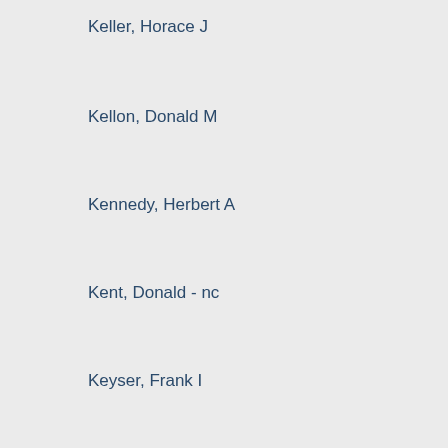Keller, Horace J
Kellon, Donald M
Kennedy, Herbert A
Kent, Donald - nc
Keyser, Frank I
Killinger, Samuel J
Killon, Donald M - nc
Knight, Robert B
Kodish, Allen B
Kowalczyk, Henry J
Kozak, Anthony S
Kurenda, Paul